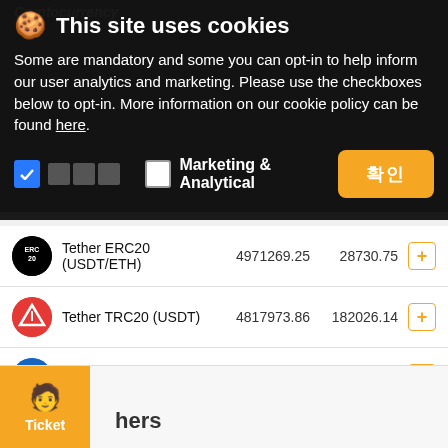This site uses cookies
Some are mandatory and some you can opt-in to help inform our user analytics and marketing. Please use the checkboxes below to opt-in. More information on our cookie policy can be found here.
☑ □□□  □ Marketing & Analytical  [확인]
| Currency | Amount | Available |
| --- | --- | --- |
| Tether ERC20 (USDT/ETH) | 4971269.25 | 28730.75 |
| Tether TRC20 (USDT) | 4817973.86 | 182026.14 |
| TrueUSD via (ERC20) | 999900.00 | 100.00 |
| USDC via (ERC20) | 24992.57 | 7.43 |
Ticket  hers